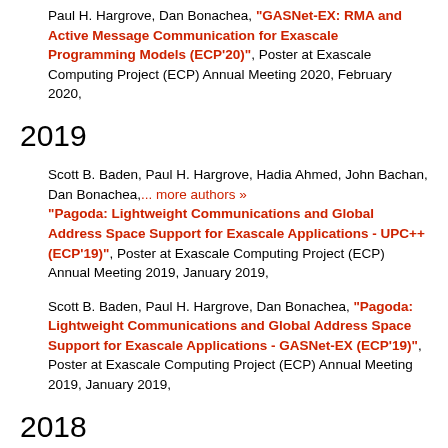Paul H. Hargrove, Dan Bonachea, "GASNet-EX: RMA and Active Message Communication for Exascale Programming Models (ECP'20)", Poster at Exascale Computing Project (ECP) Annual Meeting 2020, February 2020,
2019
Scott B. Baden, Paul H. Hargrove, Hadia Ahmed, John Bachan, Dan Bonachea,... more authors » "Pagoda: Lightweight Communications and Global Address Space Support for Exascale Applications - UPC++ (ECP'19)", Poster at Exascale Computing Project (ECP) Annual Meeting 2019, January 2019,
Scott B. Baden, Paul H. Hargrove, Dan Bonachea, "Pagoda: Lightweight Communications and Global Address Space Support for Exascale Applications - GASNet-EX (ECP'19)", Poster at Exascale Computing Project (ECP) Annual Meeting 2019, January 2019,
2018
Scott B. Baden, Paul H. Hargrove, Hadia Ahmed, John Bachan, Dan Bonachea,... more authors »